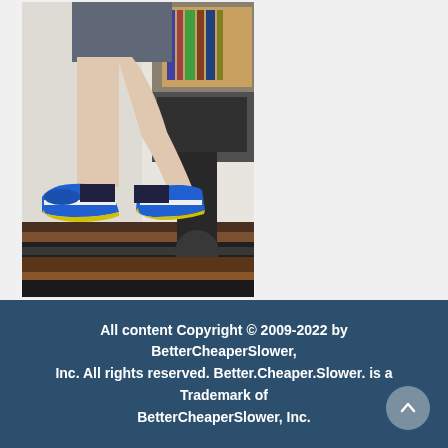[Figure (photo): Photo of a person's legs wearing blue and yellow sneakers walking on a treadmill. The person is wearing grey shorts. The treadmill has a brown/dark wooden frame. Office equipment visible in background.]
All content Copyright © 2009-2022 by BetterCheaperSlower, Inc. All rights reserved. Better.Cheaper.Slower. is a Trademark of BetterCheaperSlower, Inc.